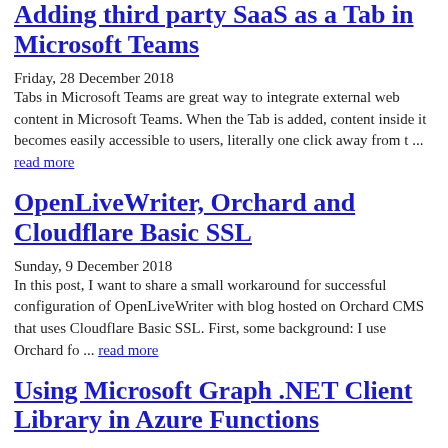Adding third party SaaS as a Tab in Microsoft Teams
Friday, 28 December 2018
Tabs in Microsoft Teams are great way to integrate external web content in Microsoft Teams. When the Tab is added, content inside it becomes easily accessible to users, literally one click away from t ... read more
OpenLiveWriter, Orchard and Cloudflare Basic SSL
Sunday, 9 December 2018
In this post, I want to share a small workaround for successful configuration of OpenLiveWriter with blog hosted on Orchard CMS that uses Cloudflare Basic SSL. First, some background: I use Orchard fo ... read more
Using Microsoft Graph .NET Client Library in Azure Functions
Sunday, 9 December 2018